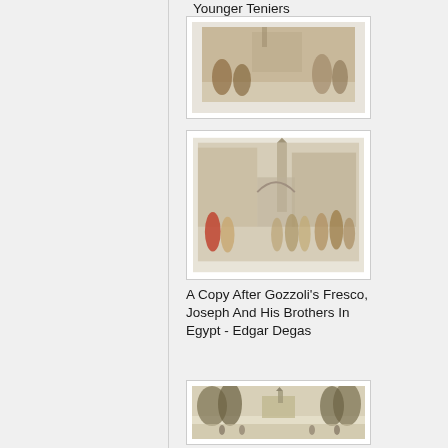Younger Teniers
[Figure (illustration): A copy after Gozzoli's fresco painting showing figures in a classical architectural setting - Joseph and His Brothers in Egypt]
A Copy After Gozzoli's Fresco, Joseph And His Brothers In Egypt - Edgar Degas
[Figure (illustration): A landscape engraving or drawing showing trees, buildings including a church spire, and crowds of people in the foreground]